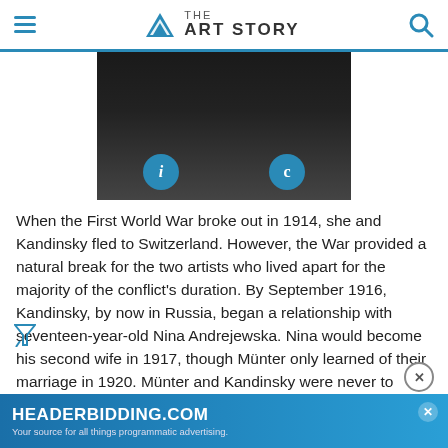THE ART STORY
[Figure (photo): Dark photograph with two circular blue buttons overlaid — one with letter 'i' (info) on the left and one with letter 'C' (copyright) on the right.]
When the First World War broke out in 1914, she and Kandinsky fled to Switzerland. However, the War provided a natural break for the two artists who lived apart for the majority of the conflict's duration. By September 1916, Kandinsky, by now in Russia, began a relationship with seventeen-year-old Nina Andrejewska. Nina would become his second wife in 1917, though Münter only learned of their marriage in 1920. Münter and Kandinsky were never to meet again, though Münter repeatedly attempted to contact him in the 1920s to retrieve works which were still in Kandinsky's custody...
[Figure (screenshot): Advertisement banner: HEADERBIDDING.COM — Your source for all things programmatic advertising.]